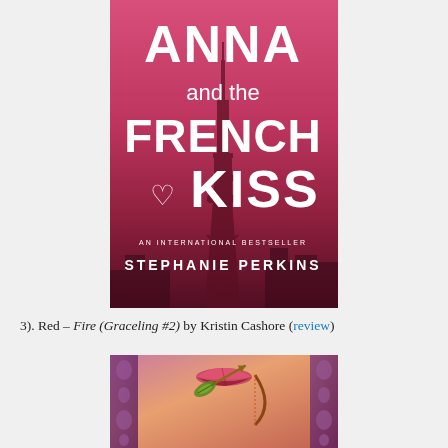[Figure (illustration): Book cover of 'Anna and the French Kiss' by Stephanie Perkins. Pink/magenta gradient background with silhouette of Eiffel Tower. Large white bold text: ANNA / and the / FRENCH / KISS. Small text: AN INTERNATIONAL BESTSELLER. Author name: STEPHANIE PERKINS. Heart shape before KISS.]
3). Red – Fire (Graceling #2) by Kristin Cashore (review)
[Figure (illustration): Book cover of 'Fire' by Kristin Cashore (Graceling #2). Pink and purple tones with ornate border design. Shows a woman's lips, an arrow with feather, and a bow.]